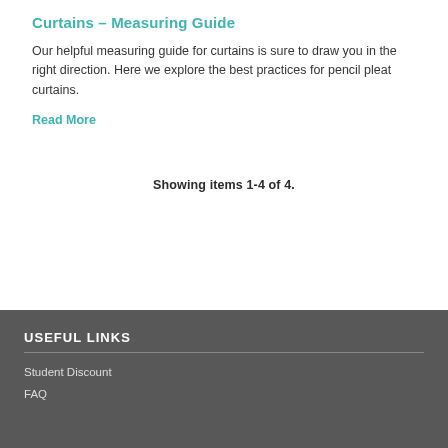Curtains – Measuring Guide
Our helpful measuring guide for curtains is sure to draw you in the right direction. Here we explore the best practices for pencil pleat curtains.
Read More
Showing items 1-4 of 4.
USEFUL LINKS
Student Discount
FAQ